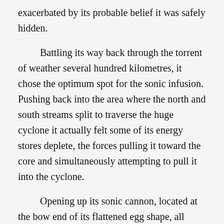exacerbated by its probable belief it was safely hidden.

Battling its way back through the torrent of weather several hundred kilometres, it chose the optimum spot for the sonic infusion. Pushing back into the area where the north and south streams split to traverse the huge cyclone it actually felt some of its energy stores deplete, the forces pulling it toward the core and simultaneously attempting to pull it into the cyclone.

Opening up its sonic cannon, located at the bow end of its flattened egg shape, all sixteen emerged, their peculiar grille-like forms protruding into the maelstrom. The bulky shape of its hull provided just enough mass to protect the sensitive weapons from the worst of the stream rushing around it, its own small eddy forming just ahead of itself like a tiny duplicate of the cyclone somewhere ahead of it.